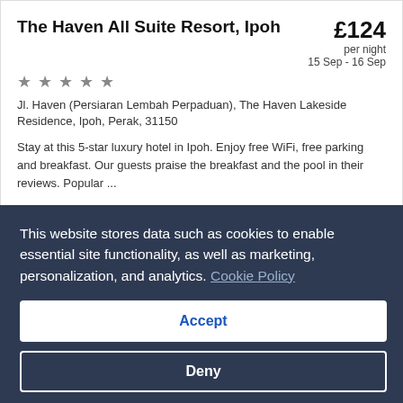The Haven All Suite Resort, Ipoh
£124 per night 15 Sep - 16 Sep
★ ★ ★ ★ ★
Jl. Haven (Persiaran Lembah Perpaduan), The Haven Lakeside Residence, Ipoh, Perak, 31150
Stay at this 5-star luxury hotel in Ipoh. Enjoy free WiFi, free parking and breakfast. Our guests praise the breakfast and the pool in their reviews. Popular ...
4.0/5 Excellent (450 reviews)
This website stores data such as cookies to enable essential site functionality, as well as marketing, personalization, and analytics. Cookie Policy
Accept
Deny